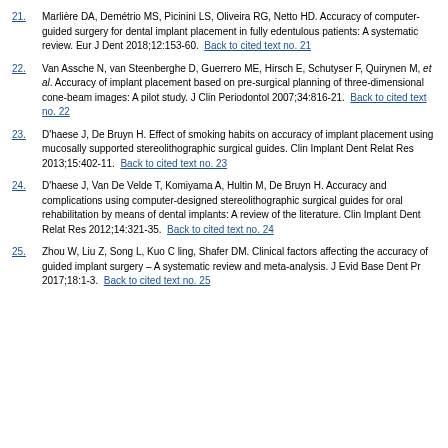21. Marlière DA, Demétrio MS, Picinini LS, Oliveira RG, Netto HD. Accuracy of computer-guided surgery for dental implant placement in fully edentulous patients: A systematic review. Eur J Dent 2018;12:153-60. Back to cited text no. 21
22. Van Assche N, van Steenberghe D, Guerrero ME, Hirsch E, Schutyser F, Quirynen M, et al. Accuracy of implant placement based on pre-surgical planning of three-dimensional cone-beam images: A pilot study. J Clin Periodontol 2007;34:816-21. Back to cited text no. 22
23. D'haese J, De Bruyn H. Effect of smoking habits on accuracy of implant placement using mucosally supported stereolithographic surgical guides. Clin Implant Dent Relat Res 2013;15:402-11. Back to cited text no. 23
24. D'haese J, Van De Velde T, Komiyama A, Hultin M, De Bruyn H. Accuracy and complications using computer-designed stereolithographic surgical guides for oral rehabilitation by means of dental implants: A review of the literature. Clin Implant Dent Relat Res 2012;14:321-35. Back to cited text no. 24
25. Zhou W, Liu Z, Song L, Kuo C ling, Shafer DM. Clinical factors affecting the accuracy of guided implant surgery – A systematic review and meta-analysis. J Evid Base Dent Pr 2017;18:1-3. Back to cited text no. 25